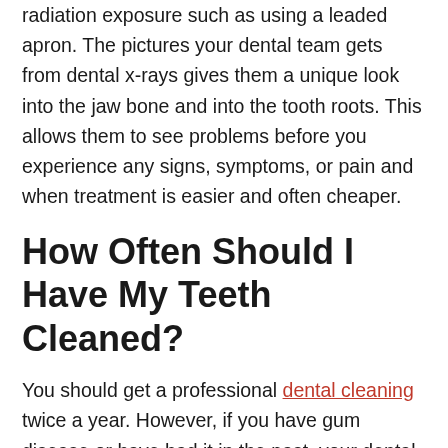radiation exposure such as using a leaded apron. The pictures your dental team gets from dental x-rays gives them a unique look into the jaw bone and into the tooth roots. This allows them to see problems before you experience any signs, symptoms, or pain and when treatment is easier and often cheaper.
How Often Should I Have My Teeth Cleaned?
You should get a professional dental cleaning twice a year. However, if you have gum disease or have had it in the past, your dental team may recommend cleanings more often. During these appointments, your hygienist is not only removing plaque and tartar buildup...